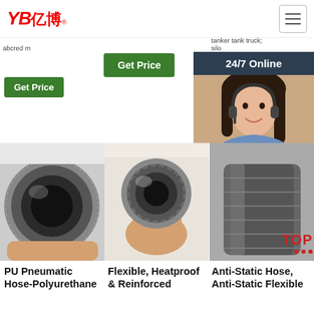[Figure (logo): YB亿博 logo in red italic with registered trademark symbol]
[Figure (screenshot): Hamburger menu icon button]
tanker tank truck; silo
[Figure (screenshot): Get Price green button (left column)]
[Figure (screenshot): Get Price green button (center column)]
[Figure (screenshot): G (partial Get Price green button, right column)]
[Figure (infographic): 24/7 Online chat popup with agent photo, Click here for free chat text, and QUOTATION orange button]
[Figure (photo): PU Pneumatic Hose - Polyurethane hose end-on view]
[Figure (photo): Flexible Heatproof & Reinforced hose end-on view held in hand]
[Figure (photo): Anti-Static Hose, Anti-Static Flexible hose]
PU Pneumatic Hose-Polyurethane
Flexible, Heatproof & Reinforced
Anti-Static Hose, Anti-Static Flexible